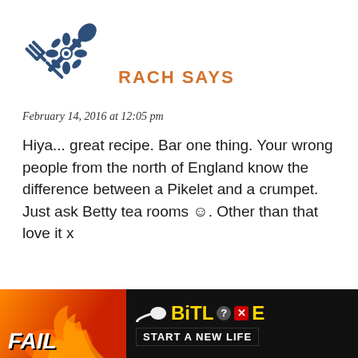[Figure (logo): Crossed fork and spoon with floral decorative element in dark blue, site logo]
RACH SAYS
February 14, 2016 at 12:05 pm
Hiya... great recipe. Bar one thing. Your wrong people from the north of England know the difference between a Pikelet and a crumpet. Just ask Betty tea rooms ☺. Other than that love it x
76
REPLY →
[Figure (logo): Small crossed fork and spoon with floral element in dark blue, site logo watermark]
[Figure (logo): Small crossed fork and spoon logo at bottom left]
[Figure (photo): Advertisement banner for BitLife game with red fire background, FAIL text, cartoon character, BitLife logo with question mark and X icons, and START A NEW LIFE tagline]